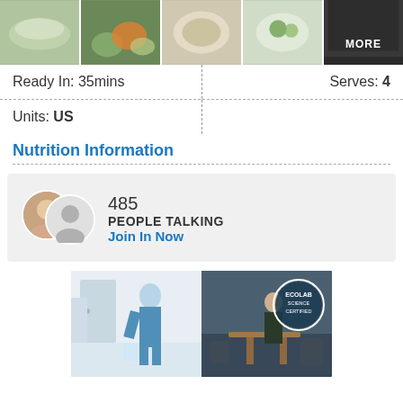[Figure (photo): Strip of 5 food photos at top, last one dark with MORE text overlay]
Ready In: 35mins
Serves: 4
Units: US
Nutrition Information
485 PEOPLE TALKING Join In Now
[Figure (photo): Ecolab Science Certified advertisement showing a medical worker in scrubs and a person in an office setting]